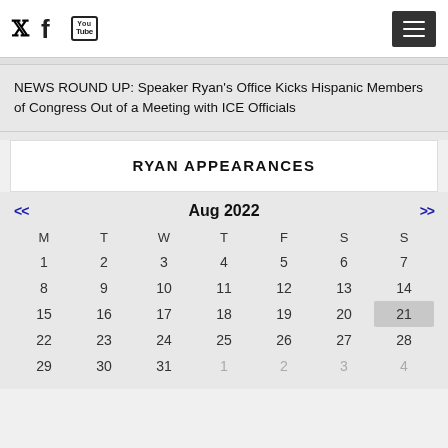Social icons: Twitter, Facebook, YouTube | Menu button
NEWS ROUND UP: Speaker Ryan's Office Kicks Hispanic Members of Congress Out of a Meeting with ICE Officials
RYAN APPEARANCES
| M | T | W | T | F | S | S |
| --- | --- | --- | --- | --- | --- | --- |
| 1 | 2 | 3 | 4 | 5 | 6 | 7 |
| 8 | 9 | 10 | 11 | 12 | 13 | 14 |
| 15 | 16 | 17 | 18 | 19 | 20 | 21 |
| 22 | 23 | 24 | 25 | 26 | 27 | 28 |
| 29 | 30 | 31 | 1 | 2 | 3 | 4 |